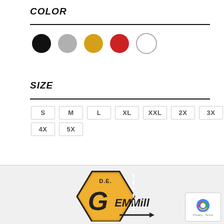COLOR
[Figure (infographic): Five color swatches shown as circles: black, gray, gold/yellow, red, white]
SIZE
[Figure (infographic): Size selector boxes: S, M, L, XL, XXL, 2X, 3X on first row; 4X, 5X on second row]
[Figure (logo): D.E. Gemmill company logo with diamond road sign shape and stylized text]